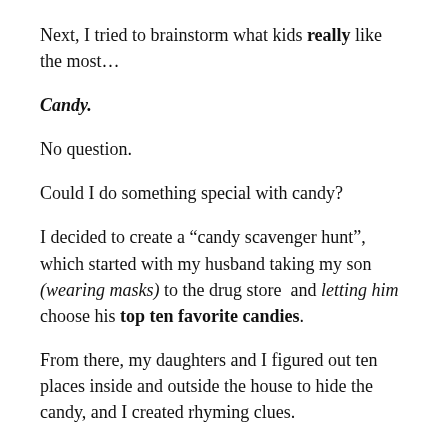Next, I tried to brainstorm what kids really like the most…
Candy.
No question.
Could I do something special with candy?
I decided to create a “candy scavenger hunt”, which started with my husband taking my son (wearing masks) to the drug store and letting him choose his top ten favorite candies.
From there, my daughters and I figured out ten places inside and outside the house to hide the candy, and I created rhyming clues.
(Heads up: kids love doggerel, so the worse the better –